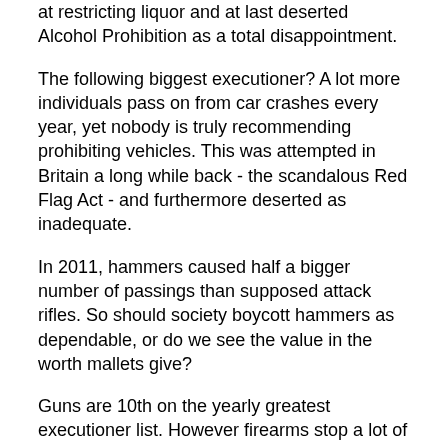hundred thousand passings. The USA took a stab at restricting liquor and at last deserted Alcohol Prohibition as a total disappointment.
The following biggest executioner? A lot more individuals pass on from car crashes every year, yet nobody is truly recommending prohibiting vehicles. This was attempted in Britain a long while back - the scandalous Red Flag Act - and furthermore deserted as inadequate.
In 2011, hammers caused half a bigger number of passings than supposed attack rifles. So should society boycott hammers as dependable, or do we see the value in the worth mallets give?
Guns are 10th on the yearly greatest executioner list. However firearms stop a lot of criminal disorder and save many individuals' lives, as do surgeons. Simply ask State Witness military and policing mentor, world class guns master Larry Correia. Or then again Dr. Susan Gratia, whose guardians were killed in a mass shooting before her eyes, there's a truly strong second soon after the five-minute imprint in her video.